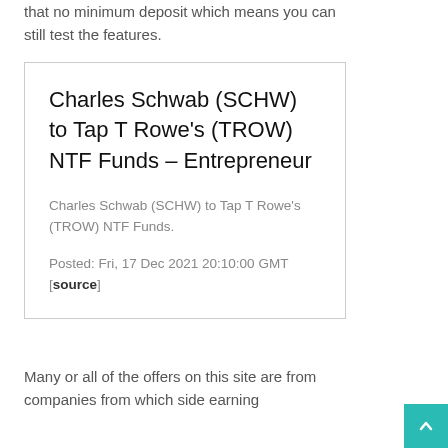that no minimum deposit which means you can still test the features.
Charles Schwab (SCHW) to Tap T Rowe's (TROW) NTF Funds – Entrepreneur
Charles Schwab (SCHW) to Tap T Rowe's (TROW) NTF Funds.
Posted: Fri, 17 Dec 2021 20:10:00 GMT [source]
Many or all of the offers on this site are from companies from which side earning